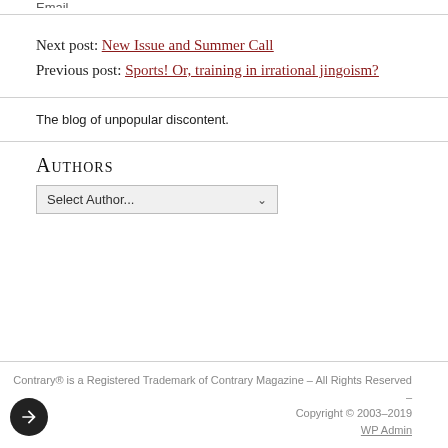Next post: New Issue and Summer Call
Previous post: Sports! Or, training in irrational jingoism?
The blog of unpopular discontent.
Authors
Select Author...
Contrary® is a Registered Trademark of Contrary Magazine – All Rights Reserved – Copyright © 2003–2019  WP Admin